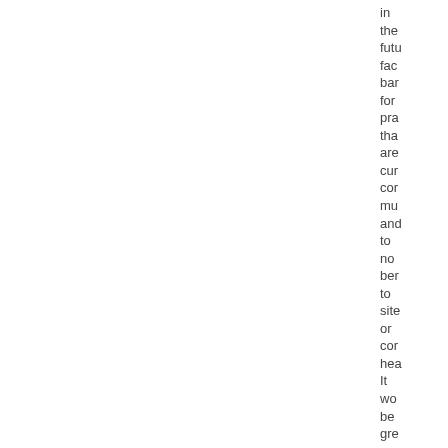in the futu fac bar for pra tha are cur cor mu and to no ber to site or cor hea It wo be gre